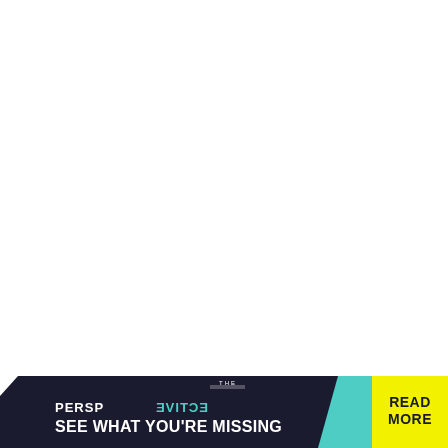[Figure (infographic): Advertising banner at the bottom of the page with dark navy background. Shows 'THE PERSPECTIVE' logo text where 'CTIVE' portion appears mirrored/reversed in teal color. Below reads 'SEE WHAT YOU'RE MISSING' in white bold text. Right side has a teal diagonal accent and a bright yellow rectangle with 'READ MORE' text in black bold letters.]